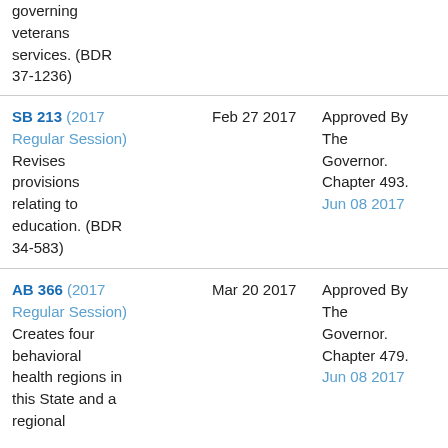governing veterans services. (BDR 37-1236)
| Bill | Date | Status |
| --- | --- | --- |
| SB 213 (2017 Regular Session) Revises provisions relating to education. (BDR 34-583) | Feb 27 2017 | Approved By The Governor. Chapter 493. Jun 08 2017 |
| AB 366 (2017 Regular Session) Creates four behavioral health regions in this State and a regional | Mar 20 2017 | Approved By The Governor. Chapter 479. Jun 08 2017 |